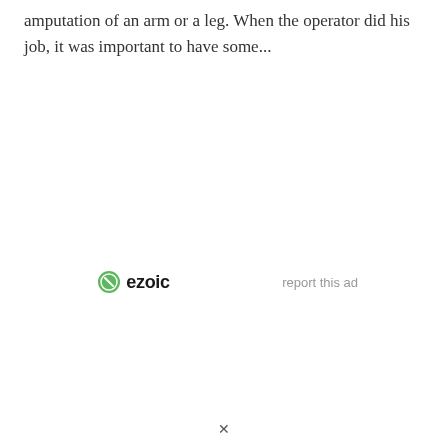amputation of an arm or a leg. When the operator did his job, it was important to have some...
[Figure (logo): Ezoic logo with green circular icon and bold 'ezoic' text]
report this ad